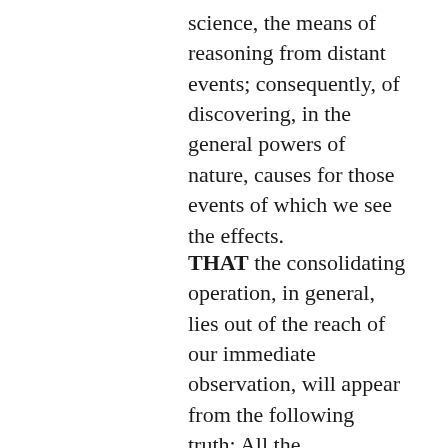science, the means of reasoning from distant events; consequently, of discovering, in the general powers of nature, causes for those events of which we see the effects.
THAT the consolidating operation, in general, lies out of the reach of our immediate observation, will appear from the following truth: All the consolidated